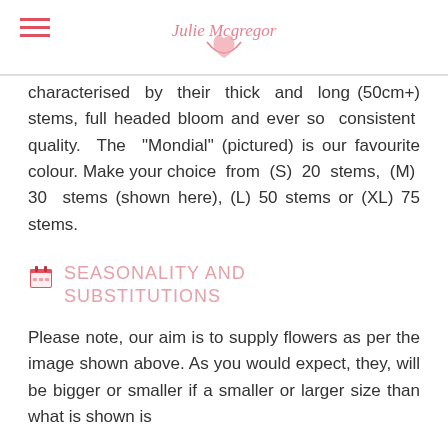Julie Mcgregor
characterised by their thick and long (50cm+) stems, full headed bloom and ever so consistent quality. The "Mondial" (pictured) is our favourite colour. Make your choice from (S) 20 stems, (M) 30 stems (shown here), (L) 50 stems or (XL) 75 stems.
SEASONALITY AND SUBSTITUTIONS
Please note, our aim is to supply flowers as per the image shown above. As you would expect, they, will be bigger or smaller if a smaller or larger size than what is shown is